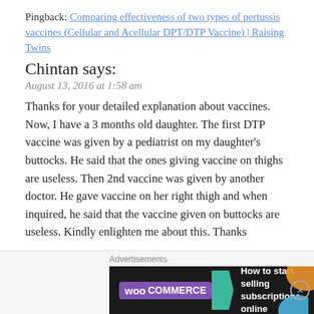Pingback: Comparing effectiveness of two types of pertussis vaccines (Cellular and Acellular DPT/DTP Vaccine) | Raising Twins
Chintan says:
August 13, 2016 at 1:58 am
Thanks for your detailed explanation about vaccines. Now, I have a 3 months old daughter. The first DTP vaccine was given by a pediatrist on my daughter's buttocks. He said that the ones giving vaccine on thighs are useless. Then 2nd vaccine was given by another doctor. He gave vaccine on her right thigh and when inquired, he said that the vaccine given on buttocks are useless. Kindly enlighten me about this. Thanks
★ Liked by 1 person
[Figure (screenshot): WooCommerce advertisement banner: 'How to start selling subscriptions online']